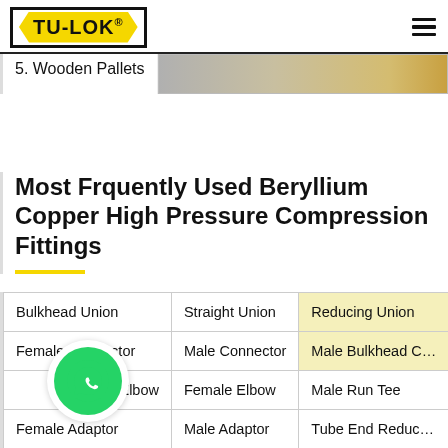TU-LOK
5. Wooden Pallets
Most Frquently Used Beryllium Copper High Pressure Compression Fittings
| Bulkhead Union | Straight Union | Reducing Union |
| Female Connector | Male Connector | Male Bulkhead C… |
| M… male Elbow | Female Elbow | Male Run Tee |
| Female Adaptor | Male Adaptor | Tube End Reduc… |